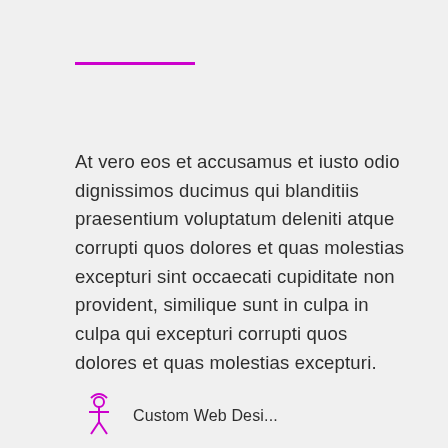At vero eos et accusamus et iusto odio dignissimos ducimus qui blanditiis praesentium voluptatum deleniti atque corrupti quos dolores et quas molestias excepturi sint occaecati cupiditate non provident, similique sunt in culpa in culpa qui excepturi corrupti quos dolores et quas molestias excepturi.
Custom Web Design...